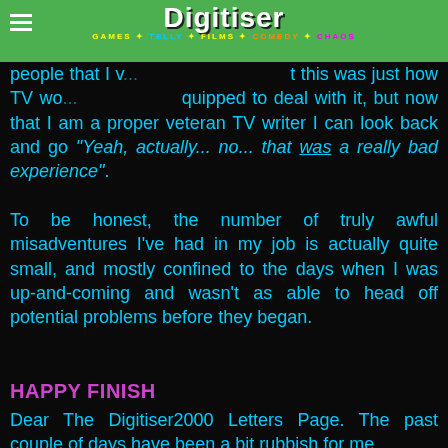Digitiser — GAMES * TELLY * FILMS * COMEDY * CHAOS
people that I v... ...t this was just how TV wo... ...equipped to deal with it, but now that I am a proper veteran TV writer I can look back and go "Yeah, actually... no... that was a really bad experience".
To be honest, the number of truly awful misadventures I've had in my job is actually quite small, and mostly confined to the days when I was up-and-coming and wasn't as able to head off potential problems before they began.
HAPPY FINISH
Dear The Digitiser2000 Letters Page. The past couple of days have been a bit rubbish for me,